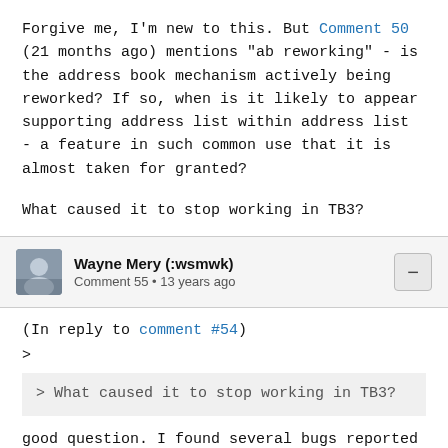Forgive me, I'm new to this. But Comment 50 (21 months ago) mentions "ab reworking" - is the address book mechanism actively being reworked? If so, when is it likely to appear supporting address list within address list - a feature in such common use that it is almost taken for granted?

What caused it to stop working in TB3?
Wayne Mery (:wsmwk)
Comment 55 • 13 years ago
(In reply to comment #54)
>
> What caused it to stop working in TB3?
good question. I found several bugs reported yesterday, and previously incorrectly closed